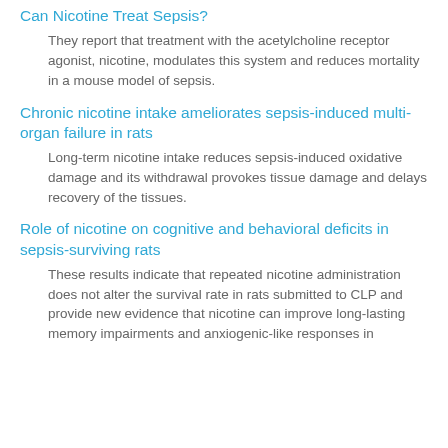Can Nicotine Treat Sepsis?
They report that treatment with the acetylcholine receptor agonist, nicotine, modulates this system and reduces mortality in a mouse model of sepsis.
Chronic nicotine intake ameliorates sepsis-induced multi-organ failure in rats
Long-term nicotine intake reduces sepsis-induced oxidative damage and its withdrawal provokes tissue damage and delays recovery of the tissues.
Role of nicotine on cognitive and behavioral deficits in sepsis-surviving rats
These results indicate that repeated nicotine administration does not alter the survival rate in rats submitted to CLP and provide new evidence that nicotine can improve long-lasting memory impairments and anxiogenic-like responses in